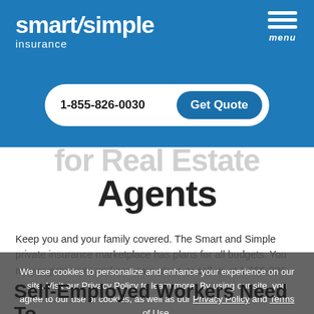smart/simple insurance
menu
1-855-826-0030    Get Quote
for Real Estate Agents
Keep you and your family covered. The Smart and Simple private insurance marketplace has plans for all budgets. You may register now and compare plans or call us at 1-855-826-
We use cookies to personalize and enhance your experience on our site. Visit our Privacy Policy to learn more. By using our site, you agree to our use of cookies, as well as our Privacy Policy and Terms of Use.
I AGREE
Self-Employed Workers Need To Enroll In Individual Health Insurance